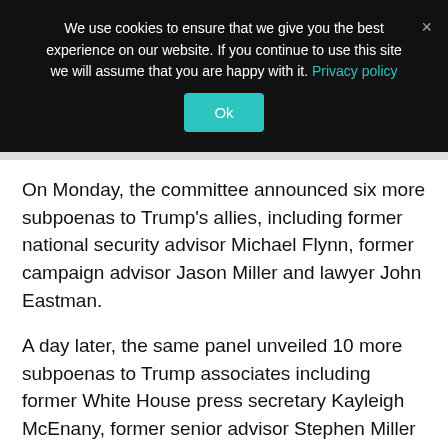We use cookies to ensure that we give you the best experience on our website. If you continue to use this site we will assume that you are happy with it. Privacy policy
Ok
On Monday, the committee announced six more subpoenas to Trump’s allies, including former national security advisor Michael Flynn, former campaign advisor Jason Miller and lawyer John Eastman.
A day later, the same panel unveiled 10 more subpoenas to Trump associates including former White House press secretary Kayleigh McEnany, former senior advisor Stephen Miller and former White House personnel director John McEntee.
On Monday night, Binnall filed an emergency request